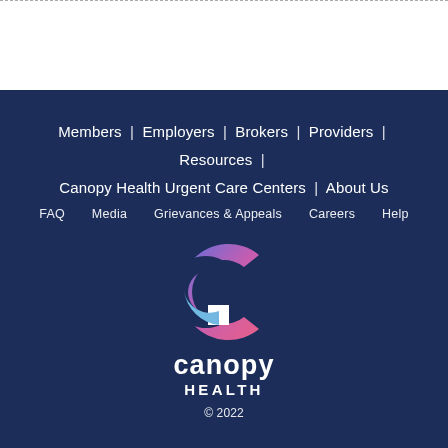Members | Employers | Brokers | Providers | Resources | Canopy Health Urgent Care Centers | About Us
FAQ   Media   Grievances & Appeals   Careers   Help
[Figure (logo): Canopy Health logo: a stylized C shape with gradient from blue to pink/purple, above the text 'canopy HEALTH']
© 2022